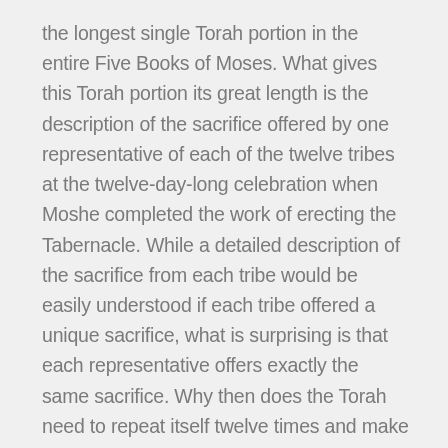the longest single Torah portion in the entire Five Books of Moses. What gives this Torah portion its great length is the description of the sacrifice offered by one representative of each of the twelve tribes at the twelve-day-long celebration when Moshe completed the work of erecting the Tabernacle. While a detailed description of the sacrifice from each tribe would be easily understood if each tribe offered a unique sacrifice, what is surprising is that each representative offers exactly the same sacrifice. Why then does the Torah need to repeat itself twelve times and make this Torah portion into the longest in the Torah? The answer given by the commentators is that its purpose is to show equality